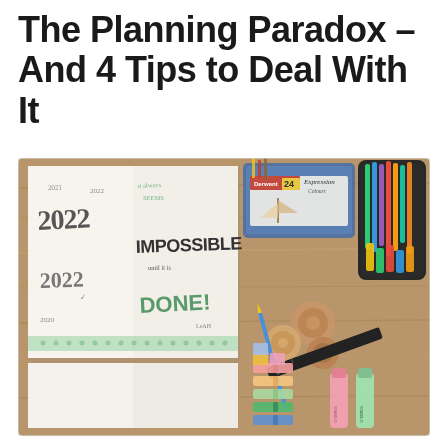The Planning Paradox – And 4 Tips to Deal With It
[Figure (photo): A flat-lay photo on a wooden desk showing an open bullet journal/planner with handwritten text including '2022', '2023', 'IMPOSSIBLE until it is DONE!', decorated with washi tape. Alongside the journal are colored pencils in a tin (Derwent Colorsoft 24 Expression), a pencil case filled with markers and highlighters, rolls of washi tape, a ruler, colorful page tabs/flags, a pencil, and two pastel-colored highlighter markers (pink and green).]